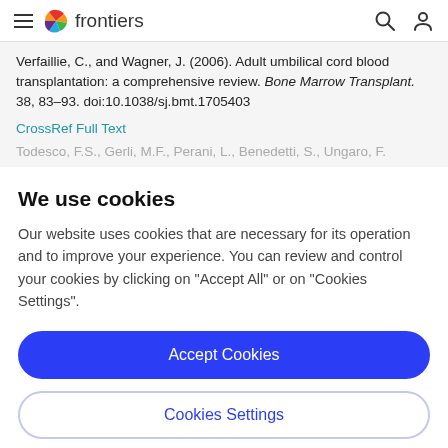frontiers
Verfaillie, C., and Wagner, J. (2006). Adult umbilical cord blood transplantation: a comprehensive review. Bone Marrow Transplant. 38, 83–93. doi:10.1038/sj.bmt.1705403
CrossRef Full Text
Todesco, F.S., Gerli, M.F., Perani, L., Benedetti, S., Ungaro, F.
We use cookies
Our website uses cookies that are necessary for its operation and to improve your experience. You can review and control your cookies by clicking on "Accept All" or on "Cookies Settings".
Accept Cookies
Cookies Settings